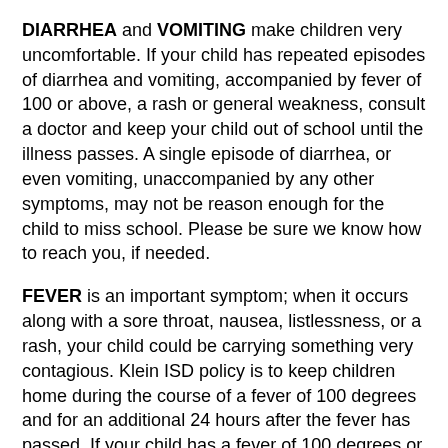DIARRHEA and VOMITING make children very uncomfortable. If your child has repeated episodes of diarrhea and vomiting, accompanied by fever of 100 or above, a rash or general weakness, consult a doctor and keep your child out of school until the illness passes. A single episode of diarrhea, or even vomiting, unaccompanied by any other symptoms, may not be reason enough for the child to miss school. Please be sure we know how to reach you, if needed.
FEVER is an important symptom; when it occurs along with a sore throat, nausea, listlessness, or a rash, your child could be carrying something very contagious. Klein ISD policy is to keep children home during the course of a fever of 100 degrees and for an additional 24 hours after the fever has passed. If your child has a fever of 100 degrees or above during the school day you will be contacted to pick up your child.
STREP THROAT caused by a streptococcal (bacterial)